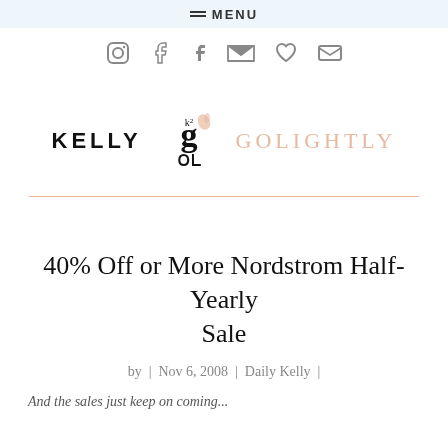≡ MENU
[Figure (infographic): Social media icons: Instagram, Pinterest, Facebook, Twitter, heart/Bloglovin, email]
[Figure (logo): Kelly Golightly logo with stylized KG monogram in center, KELLY in bold black on left, GOLIGHTLY in peach/salmon on right]
40% Off or More Nordstrom Half-Yearly Sale
by | Nov 6, 2008 | Daily Kelly |
And the sales just keep on coming...